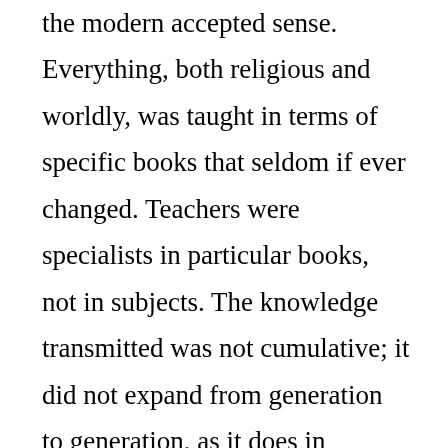the modern accepted sense. Everything, both religious and worldly, was taught in terms of specific books that seldom if ever changed. Teachers were specialists in particular books, not in subjects. The knowledge transmitted was not cumulative; it did not expand from generation to generation, as it does in modern schools and universities. Secondly, the Abbasids may have had an Indian book on Arithmetic translated from Sanskrit into Arabic, but I know of no Indian ‘ālim of the